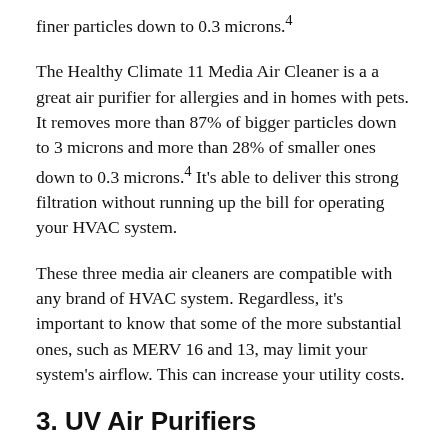finer particles down to 0.3 microns.⁴
The Healthy Climate 11 Media Air Cleaner is a a great air purifier for allergies and in homes with pets. It removes more than 87% of bigger particles down to 3 microns and more than 28% of smaller ones down to 0.3 microns.⁴ It's able to deliver this strong filtration without running up the bill for operating your HVAC system.
These three media air cleaners are compatible with any brand of HVAC system. Regardless, it's important to know that some of the more substantial ones, such as MERV 16 and 13, may limit your system's airflow. This can increase your utility costs.
3. UV Air Purifiers
The sun's UV rays are to blame when you get a painful